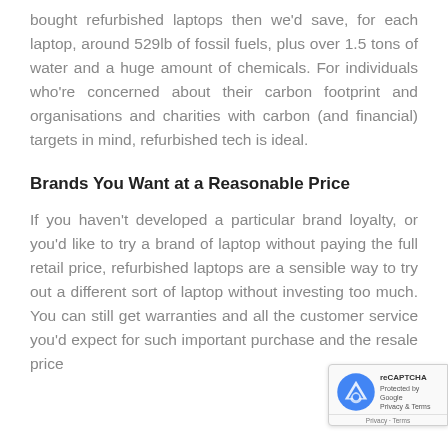bought refurbished laptops then we'd save, for each laptop, around 529lb of fossil fuels, plus over 1.5 tons of water and a huge amount of chemicals. For individuals who're concerned about their carbon footprint and organisations and charities with carbon (and financial) targets in mind, refurbished tech is ideal.
Brands You Want at a Reasonable Price
If you haven't developed a particular brand loyalty, or you'd like to try a brand of laptop without paying the full retail price, refurbished laptops are a sensible way to try out a different sort of laptop without investing too much. You can still get warranties and all the customer service you'd expect for such important purchase and the resale price...